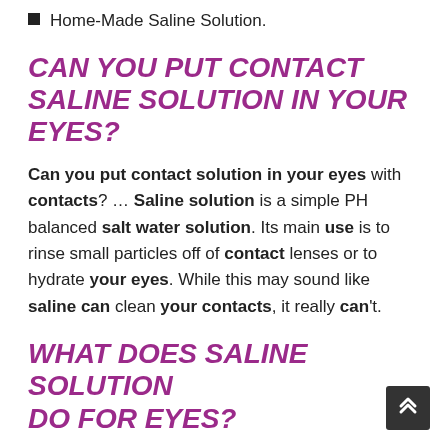Home-Made Saline Solution.
CAN YOU PUT CONTACT SALINE SOLUTION IN YOUR EYES?
Can you put contact solution in your eyes with contacts? … Saline solution is a simple PH balanced salt water solution. Its main use is to rinse small particles off of contact lenses or to hydrate your eyes. While this may sound like saline can clean your contacts, it really can't.
WHAT DOES SALINE SOLUTION DO FOR EYES?
Sensitive Eyes saline solution removes...